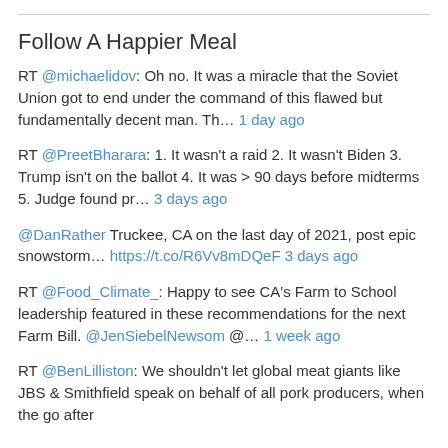Follow A Happier Meal
RT @michaelidov: Oh no. It was a miracle that the Soviet Union got to end under the command of this flawed but fundamentally decent man. Th… 1 day ago
RT @PreetBharara: 1. It wasn't a raid 2. It wasn't Biden 3. Trump isn't on the ballot 4. It was > 90 days before midterms 5. Judge found pr… 3 days ago
@DanRather Truckee, CA on the last day of 2021, post epic snowstorm… https://t.co/R6Vv8mDQeF 3 days ago
RT @Food_Climate_: Happy to see CA's Farm to School leadership featured in these recommendations for the next Farm Bill. @JenSiebelNewsom @… 1 week ago
RT @BenLilliston: We shouldn't let global meat giants like JBS & Smithfield speak on behalf of all pork producers, when the go after